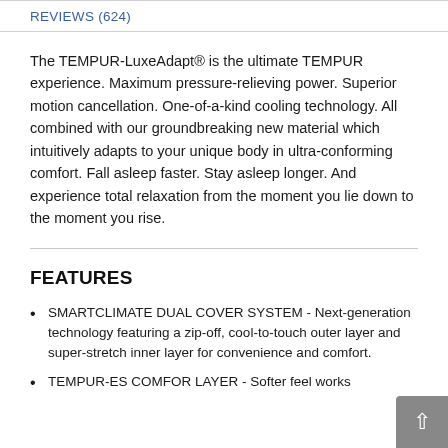REVIEWS (624)
The TEMPUR-LuxeAdapt® is the ultimate TEMPUR experience. Maximum pressure-relieving power. Superior motion cancellation. One-of-a-kind cooling technology. All combined with our groundbreaking new material which intuitively adapts to your unique body in ultra-conforming comfort. Fall asleep faster. Stay asleep longer. And experience total relaxation from the moment you lie down to the moment you rise.
FEATURES
SMARTCLIMATE DUAL COVER SYSTEM - Next-generation technology featuring a zip-off, cool-to-touch outer layer and super-stretch inner layer for convenience and comfort.
TEMPUR-ES COMFOR LAYER - Softer feel works...